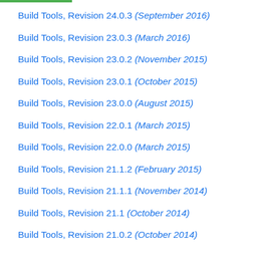Build Tools, Revision 24.0.3 (September 2016)
Build Tools, Revision 23.0.3 (March 2016)
Build Tools, Revision 23.0.2 (November 2015)
Build Tools, Revision 23.0.1 (October 2015)
Build Tools, Revision 23.0.0 (August 2015)
Build Tools, Revision 22.0.1 (March 2015)
Build Tools, Revision 22.0.0 (March 2015)
Build Tools, Revision 21.1.2 (February 2015)
Build Tools, Revision 21.1.1 (November 2014)
Build Tools, Revision 21.1 (October 2014)
Build Tools, Revision 21.0.2 (October 2014)